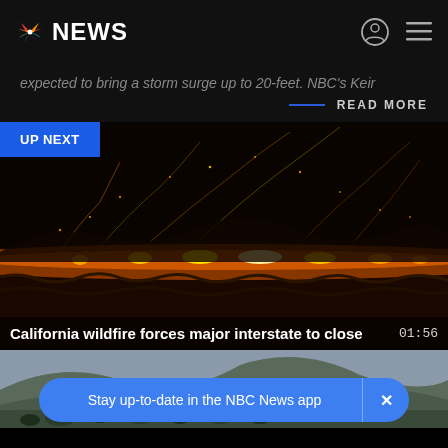NBC NEWS
expected to bring a storm surge up to 20-feet. NBC's Keir
READ MORE
[Figure (screenshot): Video thumbnail showing California wildfire at night with glowing embers and flames across a dark landscape. 'UP NEXT' badge in upper left. Title bar reads 'California wildfire forces major interstate to close' with duration 01:56.]
California wildfire forces major interstate to close  01:56
[Figure (photo): Partial thumbnail of next video showing mountainous terrain with people in foreground.]
Stay up-to-date in the NBC News app